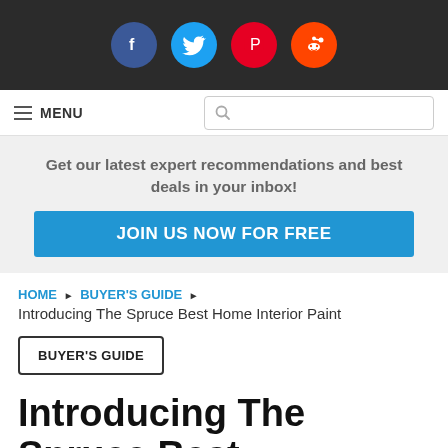[Figure (infographic): Dark top bar with four social media icon circles: Facebook (blue), Twitter (light blue), Pinterest (red), Reddit (red)]
≡ MENU  [search box with magnifying glass icon]
Get our latest expert recommendations and best deals in your inbox!
JOIN US NOW FOR FREE
HOME ▶ BUYER'S GUIDE ▶
Introducing The Spruce Best Home Interior Paint
BUYER'S GUIDE
Introducing The Spruce Best